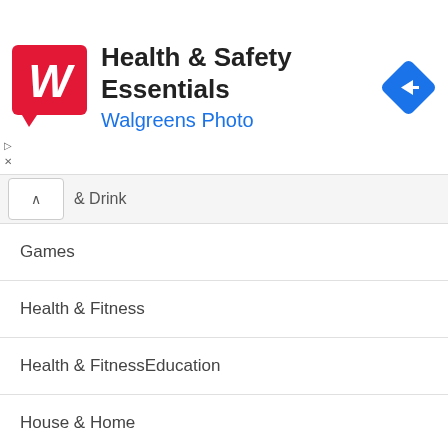[Figure (screenshot): Walgreens ad banner with red logo, 'Health & Safety Essentials' title, 'Walgreens Photo' subtitle in blue, and a blue diamond navigation icon on the right]
& Drink
Games
Health & Fitness
Health & FitnessEducation
House & Home
Libraries & Demo
Lifestyle
Maps & Navigation
Medical
Music